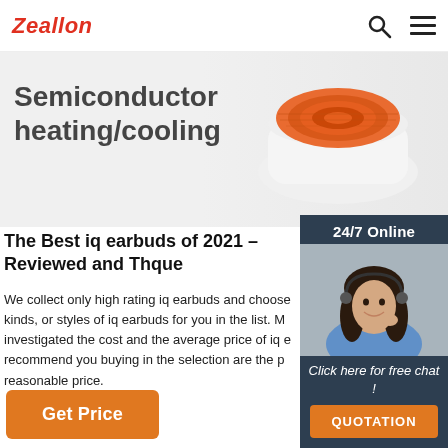Zeallon
[Figure (photo): Hero banner showing 'Semiconductor heating/cooling' text with an orange spiral heating element on a white ceramic device, product promotional image]
The Best iq earbuds of 2021 – Reviewed and Thque
We collect only high rating iq earbuds and choose kinds, or styles of iq earbuds for you in the list. M investigated the cost and the average price of iq e recommend you buying in the selection are the p reasonable price.
Get Price
[Figure (photo): 24/7 Online chat widget showing a smiling female customer service agent wearing a headset, with 'Click here for free chat!' text and an orange QUOTATION button, on a dark navy background]